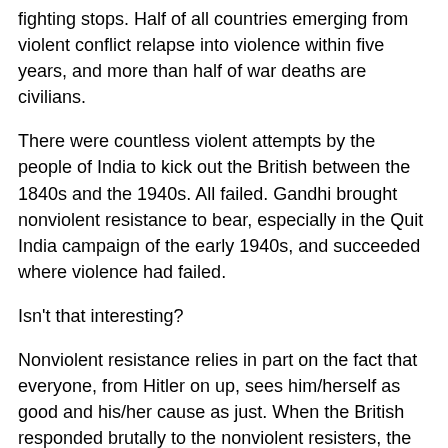fighting stops. Half of all countries emerging from violent conflict relapse into violence within five years, and more than half of war deaths are civilians.
There were countless violent attempts by the people of India to kick out the British between the 1840s and the 1940s. All failed. Gandhi brought nonviolent resistance to bear, especially in the Quit India campaign of the early 1940s, and succeeded where violence had failed.
Isn't that interesting?
Nonviolent resistance relies in part on the fact that everyone, from Hitler on up, sees him/herself as good and his/her cause as just. When the British responded brutally to the nonviolent resisters, the world recoiled in horror. It was patently clear who was in the wrong. The British, accustomed to seeing themselves as a civilizing force in the world, were ultimately unable to retain the national political will to remain — and they walked out of the Jewel of the Empire.